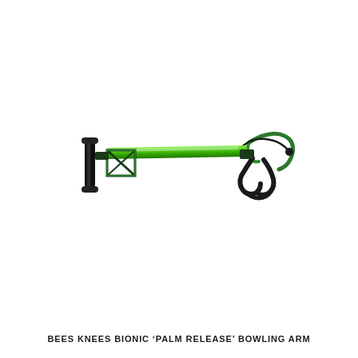[Figure (illustration): A Bees Knees Bionic Palm Release Bowling Arm device. It has a black T-shaped handle grip on the left end, a long bright green aluminum shaft/tube running horizontally, and a black cradle/cup mechanism on the right end with green and black curved supports designed to hold a bowling ball.]
BEES KNEES BIONIC 'PALM RELEASE' BOWLING ARM